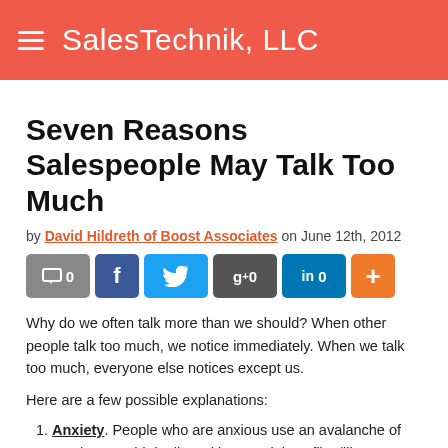SalesTechnik, LLC
Seven Reasons Salespeople May Talk Too Much
by David Hildreth of Boost Associates on June 12th, 2012
[Figure (infographic): Social sharing buttons: comment (0), Facebook, Twitter, Google+ (0), LinkedIn (0), More (+)]
Why do we often talk more than we should? When other people talk too much, we notice immediately. When we talk too much, everyone else notices except us.
Here are a few possible explanations:
Anxiety. People who are anxious use an avalanche of words to avoid dealing with potential conflict (like a prospect saying "no"). Instead of balancing talking with listening, they believe that their wall of words will protect them from what they imagine as a